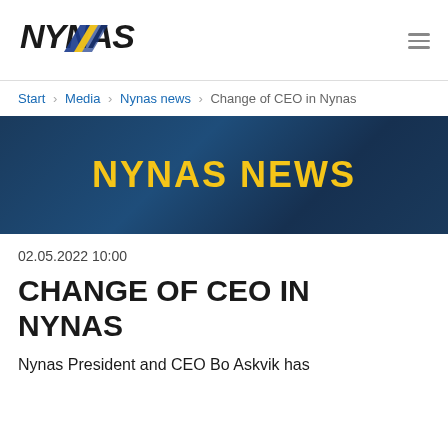[Figure (logo): Nynas company logo with italic bold text NYNAS and blue/yellow chevron graphic]
Start › Media › Nynas news › Change of CEO in Nynas
[Figure (infographic): Dark navy blue banner with yellow bold text NYNAS NEWS]
02.05.2022 10:00
CHANGE OF CEO IN NYNAS
Nynas President and CEO Bo Askvik has